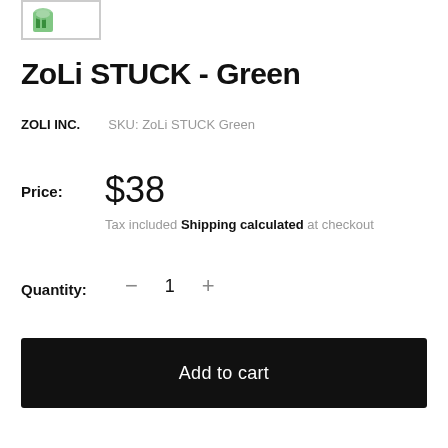[Figure (illustration): Small product thumbnail image in a bordered box showing the ZoLi STUCK product with green coloring]
ZoLi STUCK - Green
ZOLI INC.   SKU: ZoLi STUCK Green
Price:   $38
Tax included Shipping calculated at checkout
Quantity:   −   1   +
Add to cart